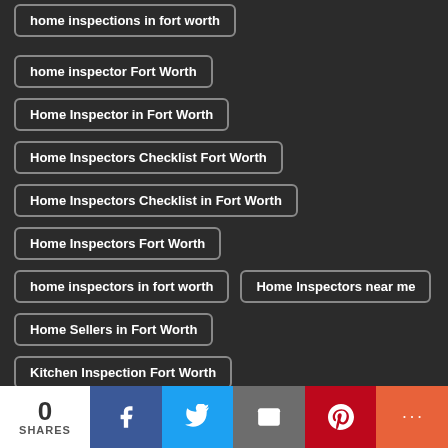home inspections in fort worth
home inspector Fort Worth
Home Inspector in Fort Worth
Home Inspectors Checklist Fort Worth
Home Inspectors Checklist in Fort Worth
Home Inspectors Fort Worth
home inspectors in fort worth
Home Inspectors near me
Home Sellers in Fort Worth
Kitchen Inspection Fort Worth
Pre-Listing Home Inspection Fort Worth
Pre-Listing Home Inspection in Fort Worth
0 SHARES | Facebook | Twitter | Email | Pinterest | More